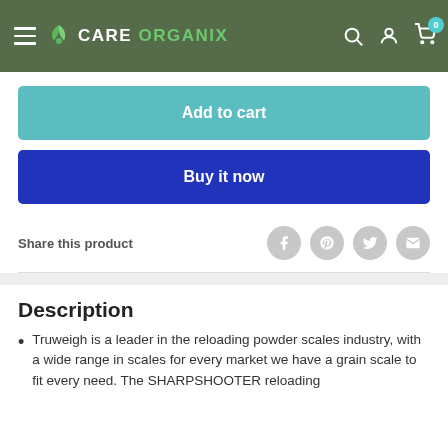CARE ORGANIX
Add to cart
Buy it now
Share this product
Description
Truweigh is a leader in the reloading powder scales industry, with a wide range in scales for every market we have a grain scale to fit every need. The SHARPSHOOTER reloading